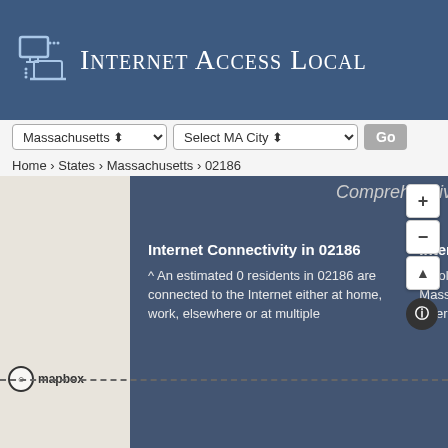Internet Access Local
Home › States › Massachusetts › 02186
Comprehensive Internet Service Provider (ISP) Guide (Milton, MA)
Internet Connectivity in 02186
^ An estimated 0 residents in 02186 are connected to the Internet either at home, work, elsewhere or at multiple
Internet Availability in 02186
^ Collectively (all cities), 83.5% of all Massachusetts residents live in a household where Internet is available,
Connected in 02186
^ There are an estimated 0 residents in 02186 who are not connected to the Internet at all - whether at home, work, or elsewhere